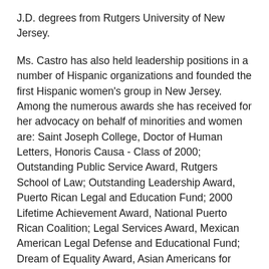J.D. degrees from Rutgers University of New Jersey.
Ms. Castro has also held leadership positions in a number of Hispanic organizations and founded the first Hispanic women's group in New Jersey. Among the numerous awards she has received for her advocacy on behalf of minorities and women are: Saint Joseph College, Doctor of Human Letters, Honoris Causa - Class of 2000; Outstanding Public Service Award, Rutgers School of Law; Outstanding Leadership Award, Puerto Rican Legal and Education Fund; 2000 Lifetime Achievement Award, National Puerto Rican Coalition; Legal Services Award, Mexican American Legal Defense and Educational Fund; Dream of Equality Award, Asian Americans for Equality; and Rutgers University Hall of Distinguished Alumni Award.
EEOC enforces Title VII of the Civil Rights Act of 1964,